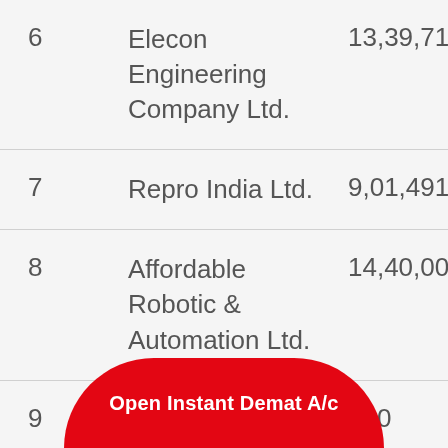| # | Company | Value |
| --- | --- | --- |
| 6 | Elecon Engineering Company Ltd. | 13,39,713 |
| 7 | Repro India Ltd. | 9,01,491 |
| 8 | Affordable Robotic & Automation Ltd. | 14,40,000 |
| 9 |  | …000 |
Open Instant Demat A/c